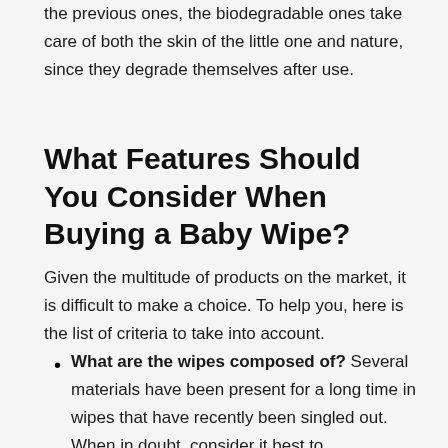the previous ones, the biodegradable ones take care of both the skin of the little one and nature, since they degrade themselves after use.
What Features Should You Consider When Buying a Baby Wipe?
Given the multitude of products on the market, it is difficult to make a choice. To help you, here is the list of criteria to take into account.
What are the wipes composed of? Several materials have been present for a long time in wipes that have recently been singled out. When in doubt, consider it best to